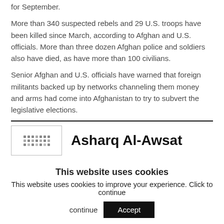for September.
More than 340 suspected rebels and 29 U.S. troops have been killed since March, according to Afghan and U.S. officials. More than three dozen Afghan police and soldiers also have died, as have more than 100 civilians.
Senior Afghan and U.S. officials have warned that foreign militants backed up by networks channeling them money and arms had come into Afghanistan to try to subvert the legislative elections.
[Figure (logo): Asharq Al-Awsat newspaper logo with small image thumbnail]
This website uses cookies
This website uses cookies to improve your experience. Click to continue
Accept